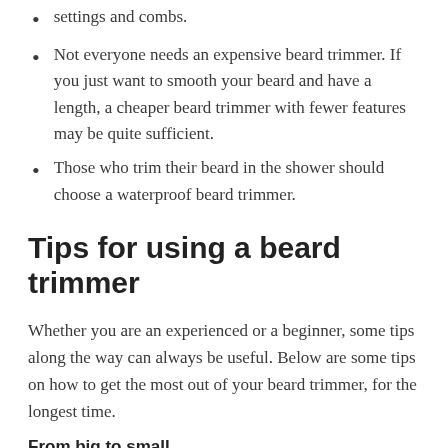settings and combs.
Not everyone needs an expensive beard trimmer. If you just want to smooth your beard and have a length, a cheaper beard trimmer with fewer features may be quite sufficient.
Those who trim their beard in the shower should choose a waterproof beard trimmer.
Tips for using a beard trimmer
Whether you are an experienced or a beginner, some tips along the way can always be useful. Below are some tips on how to get the most out of your beard trimmer, for the longest time.
From big to small
If you have a large, scraggly beard that needs to be